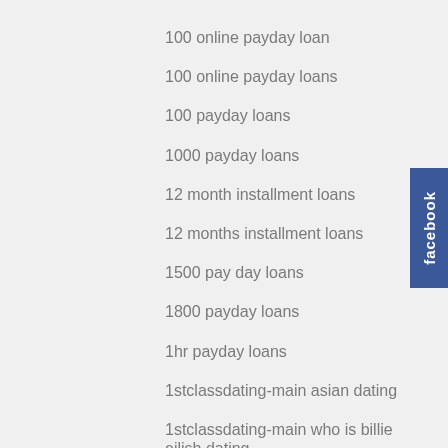100 online payday loan
100 online payday loans
100 payday loans
1000 payday loans
12 month installment loans
12 months installment loans
1500 pay day loans
1800 payday loans
1hr payday loans
1stclassdating-main asian dating
1stclassdating-main who is billie eilish dating